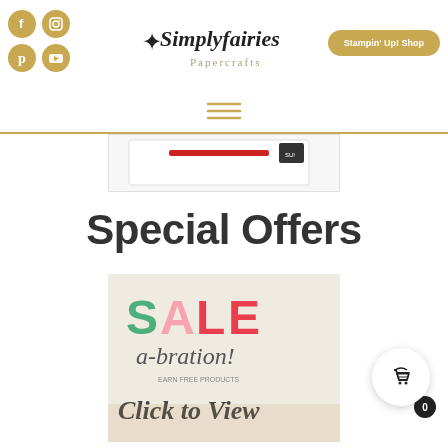[Figure (logo): Simplyfairies Papercrafts logo with fairy silhouette and script text]
[Figure (screenshot): Website header with social media icons (Facebook, Instagram, Pinterest, YouTube) in gold circles on left, Simplyfairies Papercrafts logo in center, and gold Stampin Up Shop button on right]
[Figure (photo): Partial product image showing a Stampin Up product box]
Special Offers
[Figure (photo): SALE-a-bration banner with colorful text reading SALE a-bration! Click to View with crafting products in background]